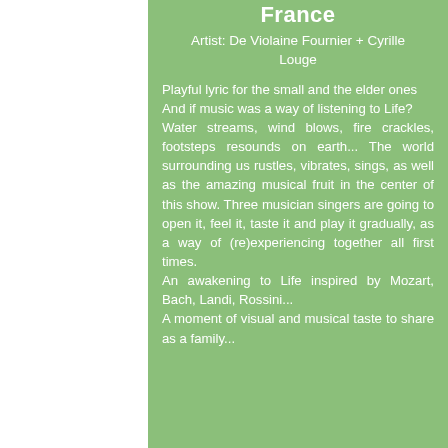France
Artist: De Violaine Fournier + Cyrille Louge
Playful lyric for the small and the elder ones
And if music was a way of listening to Life?
Water streams, wind blows, fire crackles, footsteps resounds on earth... The world surrounding us rustles, vibrates, sings, as well as the amazing musical fruit in the center of this show. Three musician singers are going to open it, feel it, taste it and play it gradually, as a way of (re)experiencing together all first times.
An awakening to Life inspired by Mozart, Bach, Landi, Rossini...
A moment of visual and musical taste to share as a family...